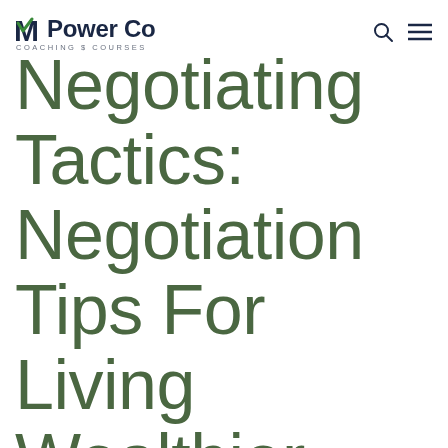MPower Co Coaching $ Courses
Negotiating Tactics: Negotiation Tips For Living Wealthier and Happier